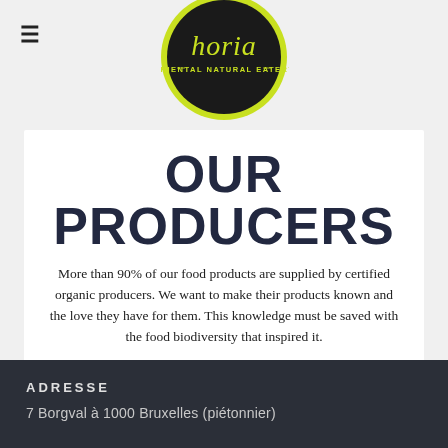[Figure (logo): Horia Oriental Natural Eatery circular logo — black circle with yellow-green outline, stylized 'horia' script in yellow-green, 'ORIENTAL NATURAL EATERY' text below in yellow-green uppercase letters]
OUR PRODUCERS
More than 90% of our food products are supplied by certified organic producers. We want to make their products known and the love they have for them. This knowledge must be saved with the food biodiversity that inspired it.
OUR PRODUCERS
ADRESSE
7 Borgval à 1000 Bruxelles (piétonnier)